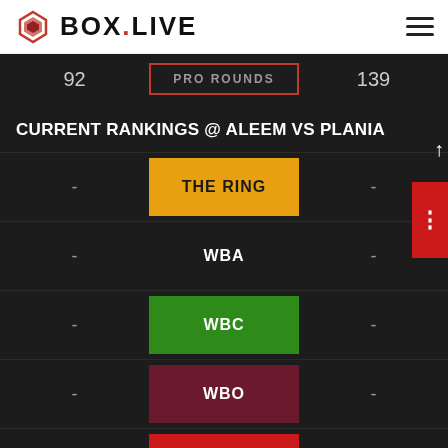BOX.LIVE
|  | PRO ROUNDS |  |
| --- | --- | --- |
| 92 | PRO ROUNDS | 139 |
CURRENT RANKINGS @ ALEEM VS PLANIA
|  | Organization |  |
| --- | --- | --- |
| - | THE RING | - |
| - | WBA | - |
| - | WBC | - |
| - | WBO | - |
| - | IBF | - |